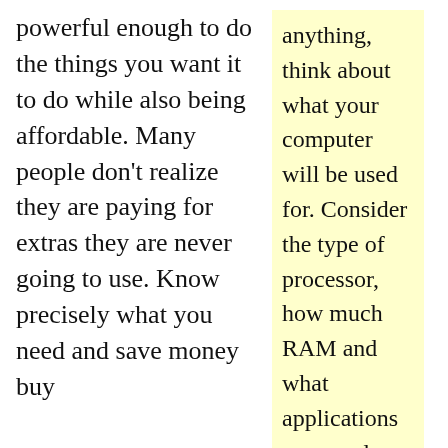powerful enough to do the things you want it to do while also being affordable. Many people don't realize they are paying for extras they are never going to use. Know precisely what you need and save money buy buying a computer that only delivers these.
anything, think about what your computer will be used for. Consider the type of processor, how much RAM and what applications you need.
If the initial start up time of a computer is a concern for you, look for SSD drives in some of the newer models. An SSD gives users the luxury of a computer that starts within only seconds, rather than many minutes. But, should the SSD fail, you need a data drive so